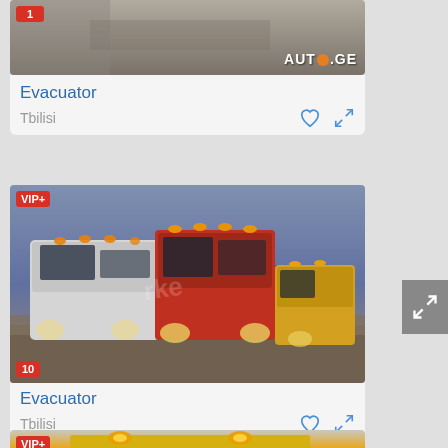[Figure (photo): Partial view of a vehicle/road scene with AUTO.GE watermark, badge showing '1']
Evacuator
Tbilisi
[Figure (photo): Three tow trucks/evacuator vehicles parked in a yard at dusk with orange lights on. VIP+ badge and count badge '10' visible.]
Evacuator
Tbilisi
[Figure (photo): Partial view of a yellow vehicle top with orange lights, VIP+ badge visible.]